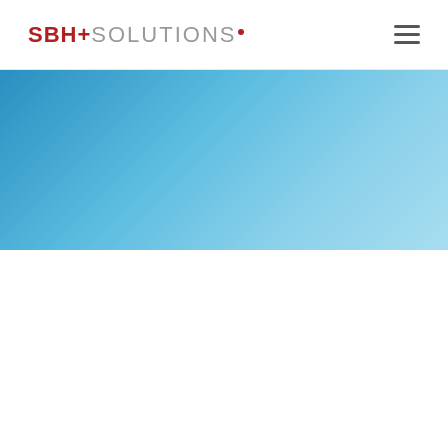SBH+ SOLUTIONS·
[Figure (illustration): Blue gradient hero banner section, transitioning from dark blue on the left to lighter sky blue on the right]